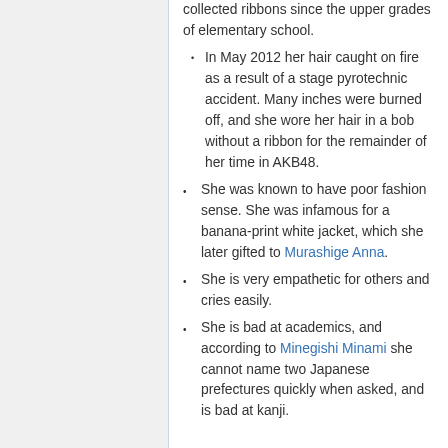collected ribbons since the upper grades of elementary school.
In May 2012 her hair caught on fire as a result of a stage pyrotechnic accident. Many inches were burned off, and she wore her hair in a bob without a ribbon for the remainder of her time in AKB48.
She was known to have poor fashion sense. She was infamous for a banana-print white jacket, which she later gifted to Murashige Anna.
She is very empathetic for others and cries easily.
She is bad at academics, and according to Minegishi Minami she cannot name two Japanese prefectures quickly when asked, and is bad at kanji.